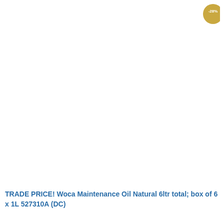[Figure (photo): Six identical cans of WOCA Maintenance Oil Natural arranged in a 3x2 grid. Each can has a dark band at top with the WOCA logo, and reads 'REVITALISES OIL-TREATED WOOD MAINTENANCE OIL'. The top-right can has a gold circular badge showing -28% discount.]
TRADE PRICE! Woca Maintenance Oil Natural 6ltr total; box of 6 x 1L 527310A (DC)